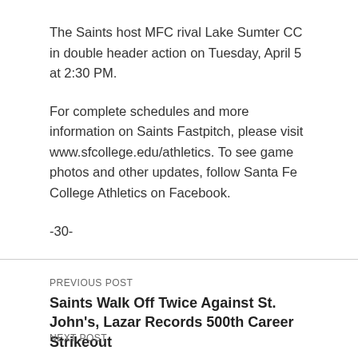The Saints host MFC rival Lake Sumter CC in double header action on Tuesday, April 5 at 2:30 PM.
For complete schedules and more information on Saints Fastpitch, please visit www.sfcollege.edu/athletics. To see game photos and other updates, follow Santa Fe College Athletics on Facebook.
-30-
PREVIOUS POST
Saints Walk Off Twice Against St. John's, Lazar Records 500th Career Strikeout
NEXT POST